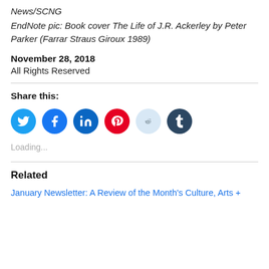News/SCNG
EndNote pic: Book cover The Life of J.R. Ackerley by Peter Parker (Farrar Straus Giroux 1989)
November 28, 2018
All Rights Reserved
Share this:
[Figure (other): Row of social sharing icon buttons: Twitter (blue), Facebook (blue), LinkedIn (blue), Pinterest (red), Reddit (light blue), Tumblr (dark blue)]
Loading...
Related
January Newsletter: A Review of the Month's Culture, Arts +